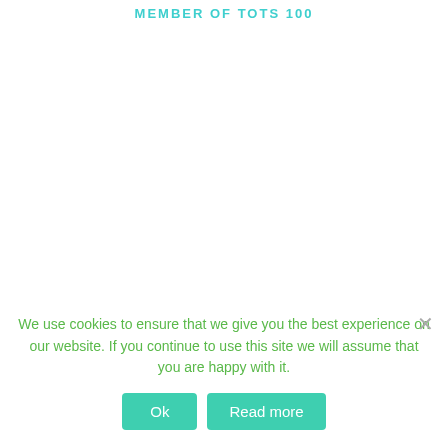MEMBER OF TOTS 100
We use cookies to ensure that we give you the best experience on our website. If you continue to use this site we will assume that you are happy with it.
Ok   Read more